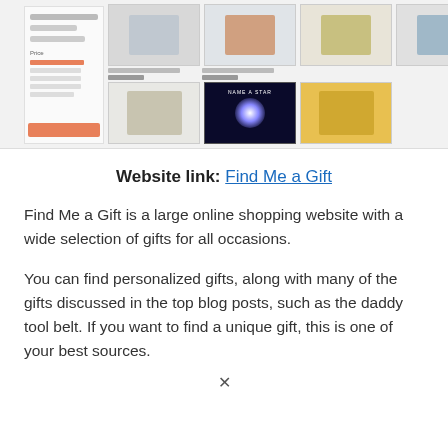[Figure (screenshot): Screenshot of the Find Me a Gift website showing product thumbnails in a grid layout with a sidebar on the left displaying filter options including price ranges, and product images including a star naming kit and baby gifts.]
Website link: Find Me a Gift
Find Me a Gift is a large online shopping website with a wide selection of gifts for all occasions.
You can find personalized gifts, along with many of the gifts discussed in the top blog posts, such as the daddy tool belt. If you want to find a unique gift, this is one of your best sources.